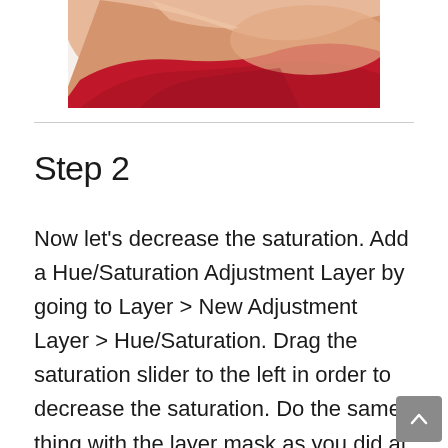[Figure (photo): Cropped photo showing a person's shoulder and upper arm wearing a red garment, visible from roughly the neck/shoulder area, skin and red fabric visible.]
Step 2
Now let’s decrease the saturation. Add a Hue/Saturation Adjustment Layer by going to Layer > New Adjustment Layer > Hue/Saturation. Drag the saturation slider to the left in order to decrease the saturation. Do the same thing with the layer mask as you did at step 2 (fill the layer mask with black and paint with white over the hair)